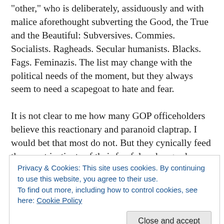other," who is deliberately, assiduously and with malice aforethought subverting the Good, the True and the Beautiful: Subversives. Commies. Socialists. Ragheads. Secular humanists. Blacks. Fags. Feminazis. The list may change with the political needs of the moment, but they always seem to need a scapegoat to hate and fear.

It is not clear to me how many GOP officeholders believe this reactionary and paranoid claptrap. I would bet that most do not. But they cynically feed the worst instincts of their fearful and angry low-information political base with a nod and a wink. During the disgraceful circus of the
Privacy & Cookies: This site uses cookies. By continuing to use this website, you agree to their use.
To find out more, including how to control cookies, see here: Cookie Policy
major GOP figure forthrightly to refute the birther calumny